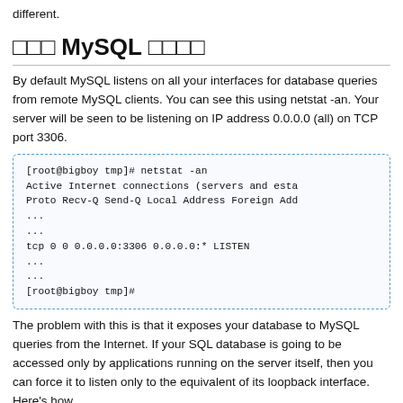different.
□□□ MySQL □□□□
By default MySQL listens on all your interfaces for database queries from remote MySQL clients. You can see this using netstat -an. Your server will be seen to be listening on IP address 0.0.0.0 (all) on TCP port 3306.
[root@bigboy tmp]# netstat -an
Active Internet connections (servers and esta
Proto Recv-Q Send-Q Local Address Foreign Add
...
...
tcp 0 0 0.0.0.0:3306 0.0.0.0:* LISTEN
...
...
[root@bigboy tmp]#
The problem with this is that it exposes your database to MySQL queries from the Internet. If your SQL database is going to be accessed only by applications running on the server itself, then you can force it to listen only to the equivalent of its loopback interface. Here's how.